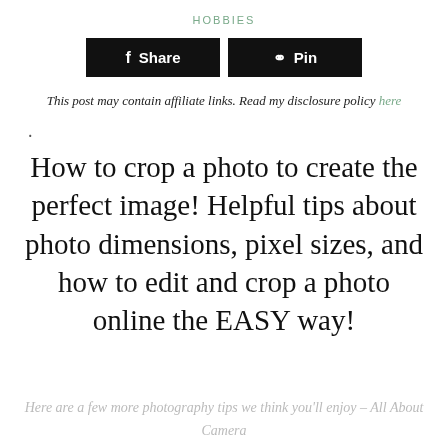HOBBIES
[Figure (other): Share and Pin social media buttons (black rectangular buttons with Facebook and Pinterest icons)]
This post may contain affiliate links. Read my disclosure policy here
.
How to crop a photo to create the perfect image! Helpful tips about photo dimensions, pixel sizes, and how to edit and crop a photo online the EASY way!
Here are a few more photography tips we think you'll enjoy – All About Camera